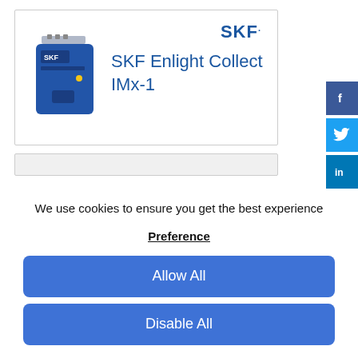[Figure (screenshot): SKF Enlight Collect IMx-1 product card with SKF logo and blue device image]
SKF Enlight Collect IMx-1
[Figure (screenshot): Partial content bar below product card]
We use cookies to ensure you get the best experience
Preference
Allow All
Disable All